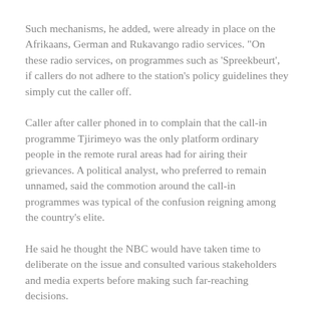Such mechanisms, he added, were already in place on the Afrikaans, German and Rukavango radio services. "On these radio services, on programmes such as 'Spreekbeurt', if callers do not adhere to the station's policy guidelines they simply cut the caller off.
Caller after caller phoned in to complain that the call-in programme Tjirimeyo was the only platform ordinary people in the remote rural areas had for airing their grievances. A political analyst, who preferred to remain unnamed, said the commotion around the call-in programmes was typical of the confusion reigning among the country's elite.
He said he thought the NBC would have taken time to deliberate on the issue and consulted various stakeholders and media experts before making such far-reaching decisions.
New Era (Windhoek), 15 May 2007